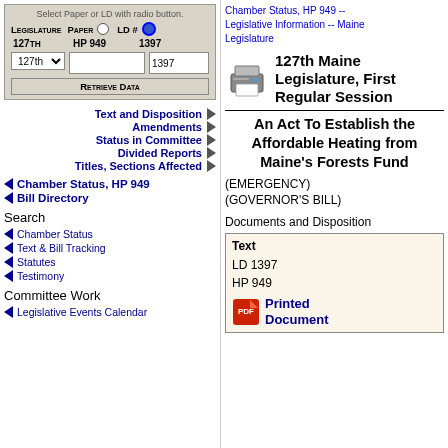[Figure (screenshot): Form with radio buttons for Legislature/Paper/LD selection, showing 127TH, HP 949, 1397, with dropdown and Retrieve Data button]
Text and Disposition
Amendments
Status in Committee
Divided Reports
Titles, Sections Affected
Chamber Status, HP 949
Bill Directory
Search
Chamber Status
Text & Bill Tracking
Statutes
Testimony
Committee Work
Legislative Events Calendar
Chamber Status, HP 949 -- Legislative Information -- Maine Legislature
[Figure (illustration): Printer icon]
127th Maine Legislature, First Regular Session
An Act To Establish the Affordable Heating from Maine's Forests Fund
(EMERGENCY) (GOVERNOR'S BILL)
Documents and Disposition
| Text |
| --- |
| LD 1397 |
| HP 949 |
Printed Document